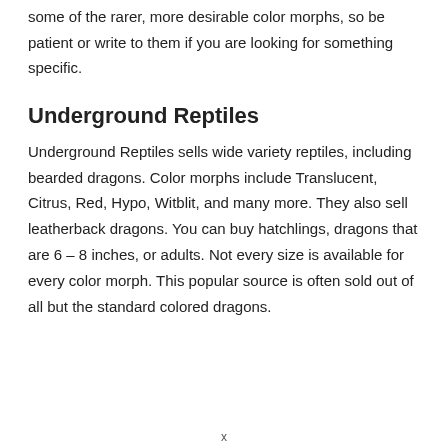some of the rarer, more desirable color morphs, so be patient or write to them if you are looking for something specific.
Underground Reptiles
Underground Reptiles sells wide variety reptiles, including bearded dragons. Color morphs include Translucent, Citrus, Red, Hypo, Witblit, and many more. They also sell leatherback dragons. You can buy hatchlings, dragons that are 6 – 8 inches, or adults. Not every size is available for every color morph. This popular source is often sold out of all but the standard colored dragons.